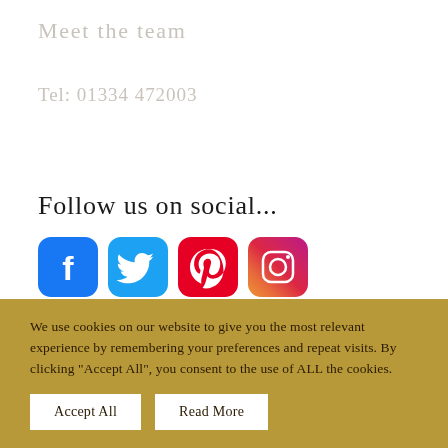Meet the team
Tel: 01334 472003
Follow us on social...
[Figure (illustration): Four social media icons: Facebook (blue), Twitter (blue), Pinterest (red), Instagram (gradient orange-pink)]
We use cookies on our website to give you the most relevant experience by remembering your preferences and repeat visits. By clicking “Accept All”, you consent to the use of ALL the cookies.
Accept All
Read More